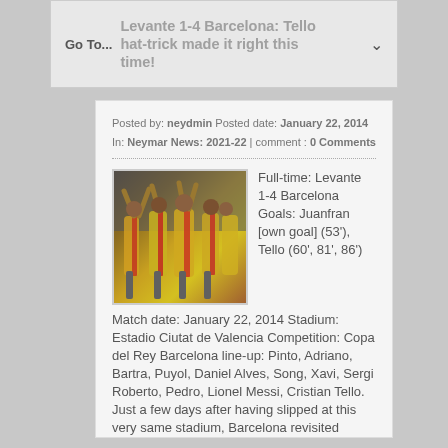Levante 1-4 Barcelona: Tello hat-trick made it right this time!
Go To...
Posted by: neydmin Posted date: January 22, 2014
In: Neymar News: 2021-22 | comment : 0 Comments
[Figure (photo): Soccer players in yellow and red striped jerseys celebrating with arms raised]
Full-time: Levante 1-4 Barcelona Goals: Juanfran [own goal] (53'), Tello (60', 81', 86') Match date: January 22, 2014 Stadium: Estadio Ciutat de Valencia Competition: Copa del Rey Barcelona line-up: Pinto, Adriano, Bartra, Puyol, Daniel Alves, Song, Xavi, Sergi Roberto, Pedro, Lionel Messi, Cristian Tello. Just a few days after having slipped at this very same stadium, Barcelona revisited Levante this Wedne ...
Read more ›